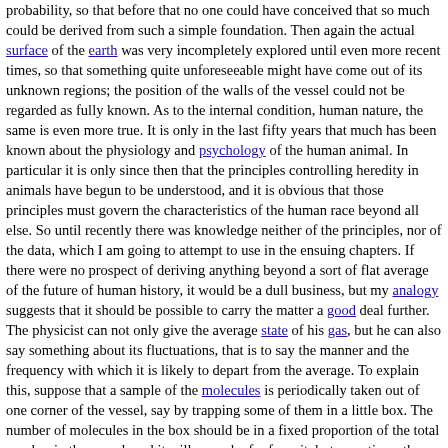probability, so that before that no one could have conceived that so much could be derived from such a simple foundation. Then again the actual surface of the earth was very incompletely explored until even more recent times, so that something quite unforeseeable might have come out of its unknown regions; the position of the walls of the vessel could not be regarded as fully known. As to the internal condition, human nature, the same is even more true. It is only in the last fifty years that much has been known about the physiology and psychology of the human animal. In particular it is only since then that the principles controlling heredity in animals have begun to be understood, and it is obvious that those principles must govern the characteristics of the human race beyond all else. So until recently there was knowledge neither of the principles, nor of the data, which I am going to attempt to use in the ensuing chapters. If there were no prospect of deriving anything beyond a sort of flat average of the future of human history, it would be a dull business, but my analogy suggests that it should be possible to carry the matter a good deal further. The physicist can not only give the average state of his gas, but he can also say something about its fluctuations, that is to say the manner and the frequency with which it is likely to depart from the average. To explain this, suppose that a sample of the molecules is periodically taken out of one corner of the vessel, say by trapping some of them in a little box. The number of molecules in the box should be in a fixed proportion of the total number in the vessel, and it will never be far from it, but sometimes the sample will have rather too many, and at